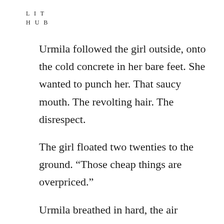LIT
HUB
Urmila followed the girl outside, onto the cold concrete in her bare feet. She wanted to punch her. That saucy mouth. The revolting hair. The disrespect.
The girl floated two twenties to the ground. “Those cheap things are overpriced.”
Urmila breathed in hard, the air spiked with car exhaust. Just in time, just as the girl turned to walk away,